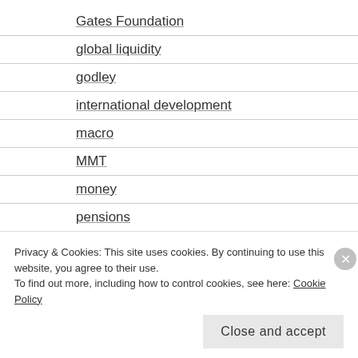Gates Foundation
global liquidity
godley
international development
macro
MMT
money
pensions
philanthrophy
politics
Privacy & Cookies: This site uses cookies. By continuing to use this website, you agree to their use. To find out more, including how to control cookies, see here: Cookie Policy
Close and accept